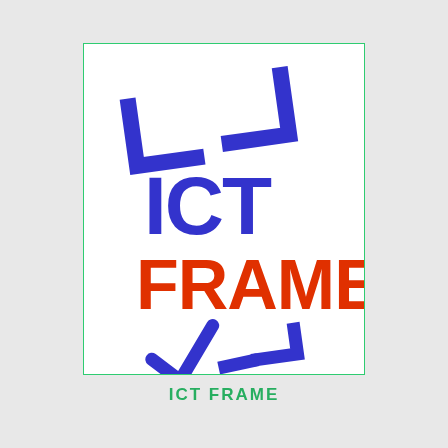[Figure (logo): ICT FRAME logo: a rotated square bracket frame in dark blue at the top and a checkmark bracket at the bottom, with the text 'ICT' in bold blue and 'FRAME' in bold red-orange overlaid in the center.]
ICT FRAME